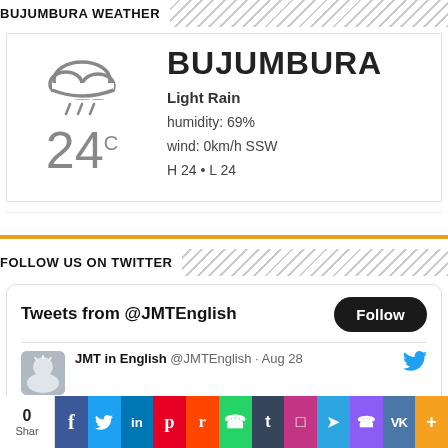BUJUMBURA WEATHER
[Figure (infographic): Weather widget showing rain cloud icon, temperature 24°C, city name BUJUMBURA, condition Light Rain, humidity 69%, wind 0km/h SSW, H 24 · L 24]
FOLLOW US ON TWITTER
[Figure (screenshot): Twitter widget showing 'Tweets from @JMTEnglish' with Follow button and tweet from JMT in English @JMTEnglish · Aug 28]
0 Shar [social share bar: Facebook, Twitter, LinkedIn, Pinterest, Reddit, WhatsApp, Tumblr, Instagram, Telegram, Phone, VK, More]